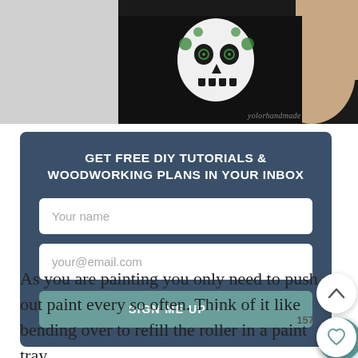[Figure (photo): Two-panel photo strip at top: left panel shows a plain light grey surface, right panel shows a person wearing a black t-shirt with a sugar skull (Day of the Dead) graphic design in green and white, with a watermark reading 'yolorhandmade' in the bottom right corner.]
GET FREE DIY TUTORIALS & WOODWORKING PLANS IN YOUR INBOX
Your name
your@email.com
SIGN ME UP →
157
As you are painting you only need to push out paint every so often. Think of it like bending over to refill the roller in a paint tray.